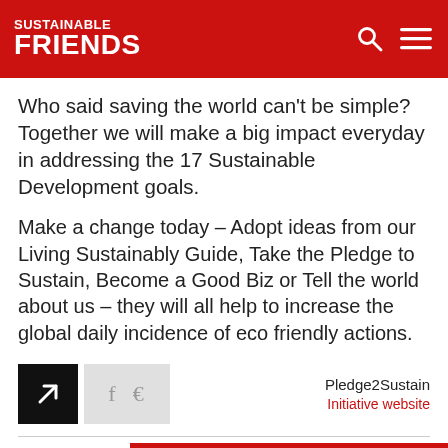SUSTAINABLE FRIENDS
Who said saving the world can't be simple? Together we will make a big impact everyday in addressing the 17 Sustainable Development goals.
Make a change today – Adopt ideas from our Living Sustainably Guide, Take the Pledge to Sustain, Become a Good Biz or Tell the world about us – they will all help to increase the global daily incidence of eco friendly actions.
[Figure (screenshot): Social sharing icons row with black arrow icon, gray Facebook and share icons, and Pledge2Sustain Initiative website link on the right]
Similar Posts
[Figure (infographic): Red Contribute button overlay]
#eco friendly #sustainability goals #sustainable brands #retailers
#sustainability goals
#sustainable brands
#retailers